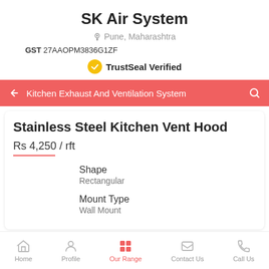SK Air System
Pune, Maharashtra
GST 27AAOPM3836G1ZF
TrustSeal Verified
Kitchen Exhaust And Ventilation System
Stainless Steel Kitchen Vent Hood
Rs 4,250 / rft
Shape
Rectangular
Mount Type
Wall Mount
Home  Profile  Our Range  Contact Us  Call Us